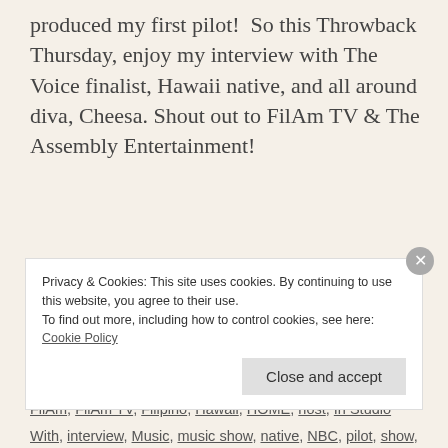produced my first pilot!  So this Throwback Thursday, enjoy my interview with The Voice finalist, Hawaii native, and all around diva, Cheesa. Shout out to FilAm TV & The Assembly Entertainment!
Azia Celestino   September 19, 2013   Azia
American, Beyonce, Cee Lo Green, Cheesa, Cheesa Laureta, competition, covers, diva, Entertainment, fashion, FilAm, FilAm TV, Filipino, Hawaii, HOME, host, In Studio With, interview, Music, music show, native, NBC, pilot, show, singer, studio, talent, TBT, Team Cee Lo, The Voice, Throwback, Throwback Thursday, TV, Whitney Houston
Privacy & Cookies: This site uses cookies. By continuing to use this website, you agree to their use. To find out more, including how to control cookies, see here: Cookie Policy
Close and accept